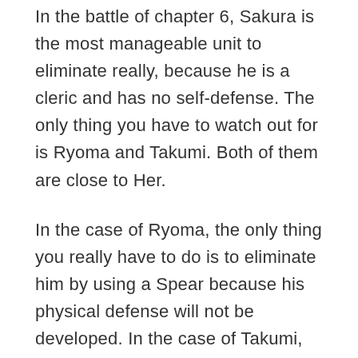In the battle of chapter 6, Sakura is the most manageable unit to eliminate really, because he is a cleric and has no self-defense. The only thing you have to watch out for is Ryoma and Takumi. Both of them are close to Her.
In the case of Ryoma, the only thing you really have to do is to eliminate him by using a Spear because his physical defense will not be developed. In the case of Takumi, direct attacks with an axe or sword to avoid damage with his bow.
Sakura will not oppose resistance, usually the first to fall of all the siblings. The strategy is